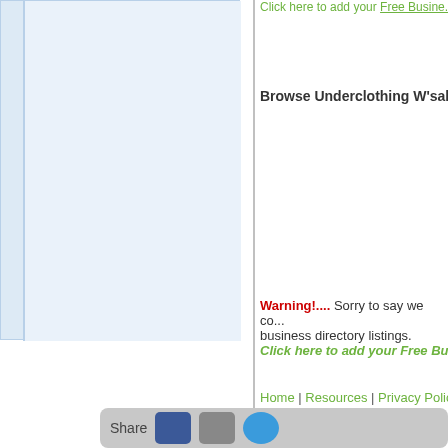[Figure (screenshot): Left panel with light blue background, representing a sidebar or content area with a darker blue left border stripe]
Click here to add your Free Busine...
Browse Underclothing W'salers...
Warning!.... Sorry to say we co... business directory listings. Click here to add your Free Bus...
Home | Resources | Privacy Policy | Te...
©
Share